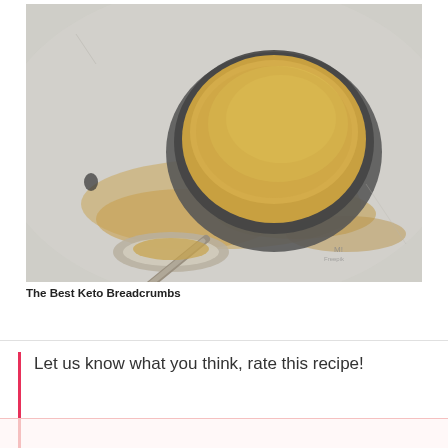[Figure (photo): Overhead photo of golden breadcrumbs in a dark round bowl, with a metal spoon and scattered breadcrumbs on a light grey stone surface. A small watermark is visible in the lower right.]
The Best Keto Breadcrumbs
Let us know what you think, rate this recipe!